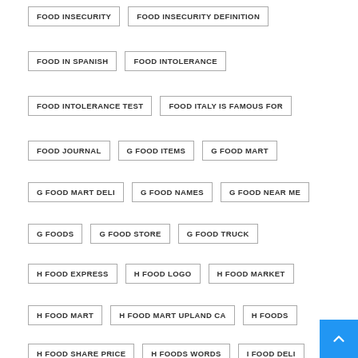FOOD INSECURITY
FOOD INSECURITY DEFINITION
FOOD IN SPANISH
FOOD INTOLERANCE
FOOD INTOLERANCE TEST
FOOD ITALY IS FAMOUS FOR
FOOD JOURNAL
G FOOD ITEMS
G FOOD MART
G FOOD MART DELI
G FOOD NAMES
G FOOD NEAR ME
G FOODS
G FOOD STORE
G FOOD TRUCK
H FOOD EXPRESS
H FOOD LOGO
H FOOD MARKET
H FOOD MART
H FOOD MART UPLAND CA
H FOODS
H FOOD SHARE PRICE
H FOODS WORDS
I FOOD DELI